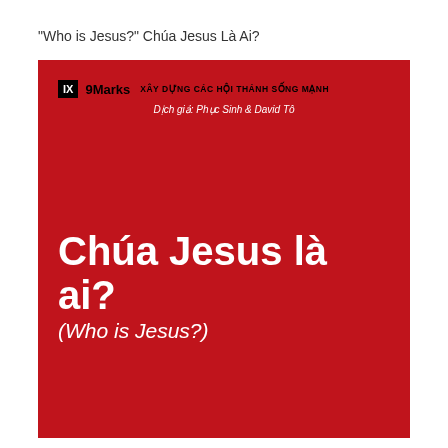"Who is Jesus?" Chúa Jesus Là Ai?
[Figure (illustration): Red book cover for '9Marks' series. Top left has IX logo box and '9Marks' brand with text 'XÂY DỰNG CÁC HỘI THÁNH SỐNG MẠNH'. Below that in white italic text: 'Dịch giả: Phục Sinh & David Tô'. Large white bold text in lower portion reads 'Chúa Jesus là ai?' with italic subtitle '(Who is Jesus?)' below it.]